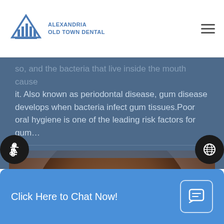Alexandria Old Town Dental
so, and the bacteria that live inside the mouth cause it. Also known as periodontal disease, gum disease develops when bacteria infect gum tissues. Poor oral hygiene is one of the leading risk factors for gum…
[Figure (photo): Close-up photo of a smiling man showing teeth with a missing front tooth, illustrating tooth loss from gum disease]
Click Here to Chat Now!